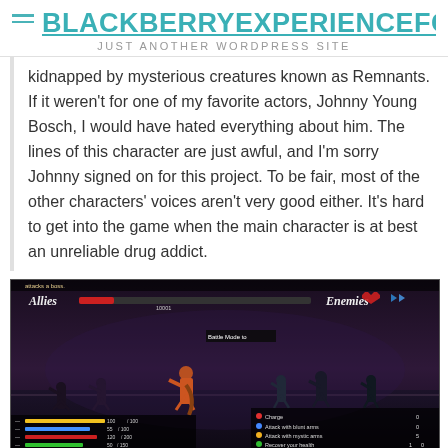BLACKBERRYEXPERIENCEFORU — JUST ANOTHER WORDPRESS SITE
kidnapped by mysterious creatures known as Remnants. If it weren't for one of my favorite actors, Johnny Young Bosch, I would have hated everything about him. The lines of this character are just awful, and I'm sorry Johnny signed on for this project. To be fair, most of the other characters' voices aren't very good either. It's hard to get into the game when the main character is at best an unreliable drug addict.
[Figure (screenshot): Screenshot from a video game showing a battle scene with allies on the left and enemies on the right, with HUD elements including health bars, character bars at the bottom left, and a menu on the bottom right.]